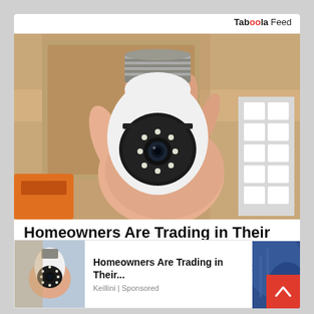Taboola Feed
[Figure (photo): A hand holding a white bulb-shaped security camera with LED ring around the lens, set against a wooden shelf background with orange tool and white circuit breakers visible]
Homeowners Are Trading in Their Doorbell Cams for This.
Keillini | Sponsored
[Figure (photo): Small thumbnail of the same bulb security camera held by a hand, with blue background on the right side panel]
Homeowners Are Trading in Their... Keillini | Sponsored